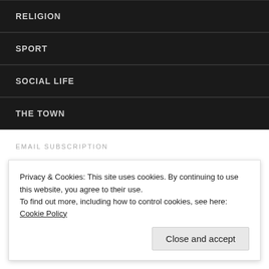RELIGION
SPORT
SOCIAL LIFE
THE TOWN
EMAIL SUBSCRIPTION
Enter your email address to subscribe to this blog and receive notifications of new posts by email.
Enter your email address
Privacy & Cookies: This site uses cookies. By continuing to use this website, you agree to their use.
To find out more, including how to control cookies, see here: Cookie Policy
Close and accept